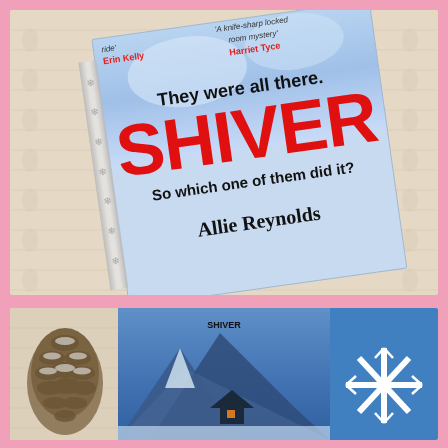[Figure (photo): Top photo: Book cover of 'Shiver' by Allie Reynolds lying on a cream knit fabric background with a silver snowflake ribbon. Cover is light blue with large red title 'SHIVER', taglines 'They were all there.' and 'So which one of them did it?'. Blurbs from Erin Kelly and Harriet Tyce visible.]
[Figure (photo): Bottom photo: Close-up of a frosted pine cone on knit fabric on the left, part of the book cover showing a snow-covered mountain chalet at night in blue tones in the middle, and a decorative white snowflake ornament on a blue background on the right.]